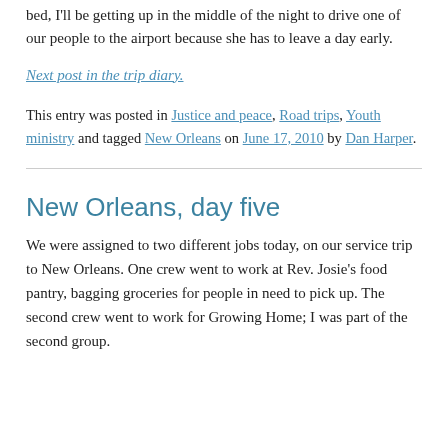bed, I'll be getting up in the middle of the night to drive one of our people to the airport because she has to leave a day early.
Next post in the trip diary.
This entry was posted in Justice and peace, Road trips, Youth ministry and tagged New Orleans on June 17, 2010 by Dan Harper.
New Orleans, day five
We were assigned to two different jobs today, on our service trip to New Orleans. One crew went to work at Rev. Josie's food pantry, bagging groceries for people in need to pick up. The second crew went to work for Growing Home; I was part of the second group.